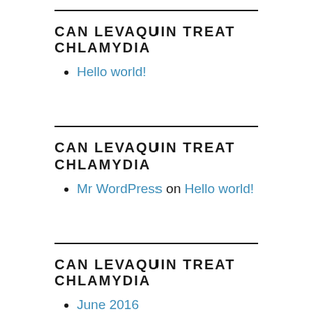CAN LEVAQUIN TREAT CHLAMYDIA
Hello world!
CAN LEVAQUIN TREAT CHLAMYDIA
Mr WordPress on Hello world!
CAN LEVAQUIN TREAT CHLAMYDIA
June 2016